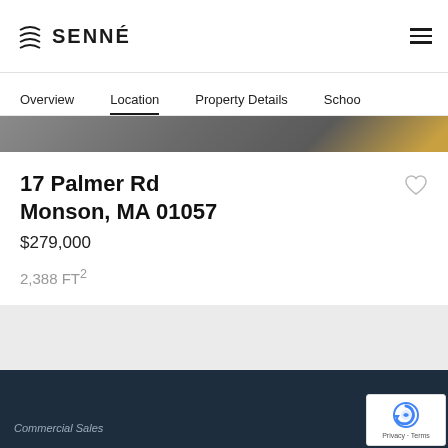SENNÉ
Overview  Location  Property Details  Schools
[Figure (photo): Partial view of a property exterior, dark gray roof/surface visible with a hint of golden/amber in the lower right corner.]
17 Palmer Rd Monson, MA 01057
$279,000
2,388 FT²
Commercial Sales